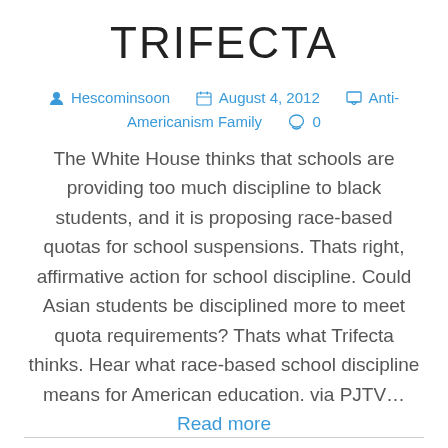TRIFECTA
Hescominsoon   August 4, 2012   Anti-Americanism Family   0
The White House thinks that schools are providing too much discipline to black students, and it is proposing race-based quotas for school suspensions. Thats right, affirmative action for school discipline. Could Asian students be disciplined more to meet quota requirements? Thats what Trifecta thinks. Hear what race-based school discipline means for American education. via PJTV… Read more